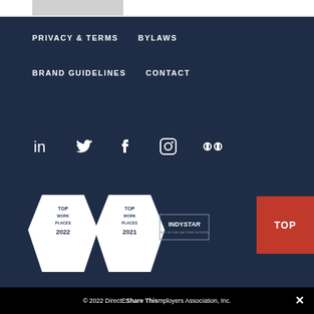PRIVACY & TERMS
BYLAWS
BRAND GUIDELINES
CONTACT
[Figure (infographic): Social media icons: LinkedIn, Twitter, Facebook, Instagram, Flickr]
[Figure (infographic): Top Work Places 2022 and 2021 badges with IndyStar logo, and a partial red Top Work Places badge on the right edge]
© 2022 DirectEmployers Association, Inc.
Share This